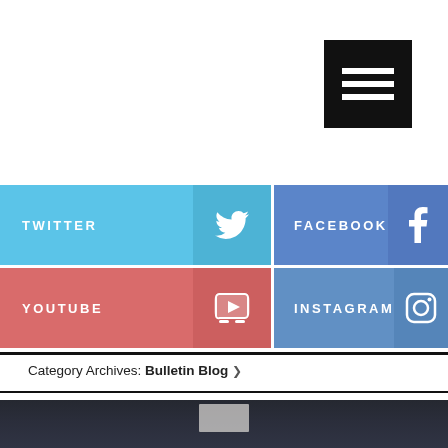[Figure (other): Hamburger menu button (black square with three white horizontal bars) in the top right corner]
[Figure (infographic): Social media links grid: Twitter (light blue), Facebook (blue), YouTube (red), Instagram (blue-gray), each with icon and label]
Category Archives: Bulletin Blog ˅
[Figure (photo): Photo of dark folded clothing/t-shirts, partially visible at bottom of page]